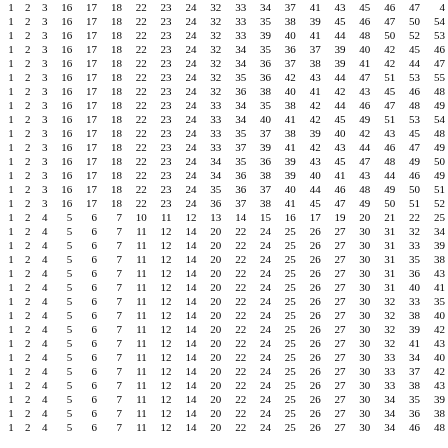| 1 | 2 | 3 | 16 | 17 | 18 | 22 | 23 | 24 | 32 | 33 | 34 | 37 | 41 | 43 | 45 | 46 | 47 | 4 |
| 1 | 2 | 3 | 16 | 17 | 18 | 22 | 23 | 24 | 32 | 33 | 35 | 38 | 39 | 45 | 46 | 47 | 50 | 54 |
| 1 | 2 | 3 | 16 | 17 | 18 | 22 | 23 | 24 | 32 | 33 | 39 | 40 | 41 | 44 | 48 | 50 | 52 | 53 |
| 1 | 2 | 3 | 16 | 17 | 18 | 22 | 23 | 24 | 32 | 34 | 35 | 36 | 37 | 39 | 40 | 42 | 45 | 46 |
| 1 | 2 | 3 | 16 | 17 | 18 | 22 | 23 | 24 | 32 | 34 | 36 | 37 | 38 | 39 | 41 | 42 | 44 | 47 |
| 1 | 2 | 3 | 16 | 17 | 18 | 22 | 23 | 24 | 32 | 35 | 36 | 42 | 43 | 44 | 47 | 51 | 53 | 55 |
| 1 | 2 | 3 | 16 | 17 | 18 | 22 | 23 | 24 | 32 | 36 | 38 | 40 | 41 | 42 | 43 | 45 | 46 | 48 |
| 1 | 2 | 3 | 16 | 17 | 18 | 22 | 23 | 24 | 33 | 34 | 35 | 38 | 42 | 44 | 46 | 47 | 48 | 49 |
| 1 | 2 | 3 | 16 | 17 | 18 | 22 | 23 | 24 | 33 | 34 | 40 | 41 | 42 | 45 | 49 | 51 | 53 | 54 |
| 1 | 2 | 3 | 16 | 17 | 18 | 22 | 23 | 24 | 33 | 35 | 37 | 38 | 39 | 40 | 42 | 43 | 45 | 48 |
| 1 | 2 | 3 | 16 | 17 | 18 | 22 | 23 | 24 | 33 | 37 | 39 | 41 | 42 | 43 | 44 | 46 | 47 | 49 |
| 1 | 2 | 3 | 16 | 17 | 18 | 22 | 23 | 24 | 34 | 35 | 36 | 39 | 43 | 45 | 47 | 48 | 49 | 50 |
| 1 | 2 | 3 | 16 | 17 | 18 | 22 | 23 | 24 | 34 | 36 | 38 | 39 | 40 | 41 | 43 | 44 | 46 | 49 |
| 1 | 2 | 3 | 16 | 17 | 18 | 22 | 23 | 24 | 35 | 36 | 37 | 40 | 44 | 46 | 48 | 49 | 50 | 51 |
| 1 | 2 | 3 | 16 | 17 | 18 | 22 | 23 | 24 | 36 | 37 | 38 | 41 | 45 | 47 | 49 | 50 | 51 | 52 |
| 1 | 2 | 4 | 5 | 6 | 7 | 10 | 11 | 12 | 13 | 14 | 15 | 16 | 17 | 19 | 20 | 21 | 22 | 25 |
| 1 | 2 | 4 | 5 | 6 | 7 | 11 | 12 | 14 | 20 | 22 | 24 | 25 | 26 | 27 | 30 | 31 | 32 | 34 |
| 1 | 2 | 4 | 5 | 6 | 7 | 11 | 12 | 14 | 20 | 22 | 24 | 25 | 26 | 27 | 30 | 31 | 33 | 39 |
| 1 | 2 | 4 | 5 | 6 | 7 | 11 | 12 | 14 | 20 | 22 | 24 | 25 | 26 | 27 | 30 | 31 | 35 | 38 |
| 1 | 2 | 4 | 5 | 6 | 7 | 11 | 12 | 14 | 20 | 22 | 24 | 25 | 26 | 27 | 30 | 31 | 36 | 43 |
| 1 | 2 | 4 | 5 | 6 | 7 | 11 | 12 | 14 | 20 | 22 | 24 | 25 | 26 | 27 | 30 | 31 | 40 | 41 |
| 1 | 2 | 4 | 5 | 6 | 7 | 11 | 12 | 14 | 20 | 22 | 24 | 25 | 26 | 27 | 30 | 32 | 33 | 35 |
| 1 | 2 | 4 | 5 | 6 | 7 | 11 | 12 | 14 | 20 | 22 | 24 | 25 | 26 | 27 | 30 | 32 | 38 | 40 |
| 1 | 2 | 4 | 5 | 6 | 7 | 11 | 12 | 14 | 20 | 22 | 24 | 25 | 26 | 27 | 30 | 32 | 39 | 42 |
| 1 | 2 | 4 | 5 | 6 | 7 | 11 | 12 | 14 | 20 | 22 | 24 | 25 | 26 | 27 | 30 | 32 | 41 | 43 |
| 1 | 2 | 4 | 5 | 6 | 7 | 11 | 12 | 14 | 20 | 22 | 24 | 25 | 26 | 27 | 30 | 33 | 34 | 40 |
| 1 | 2 | 4 | 5 | 6 | 7 | 11 | 12 | 14 | 20 | 22 | 24 | 25 | 26 | 27 | 30 | 33 | 37 | 42 |
| 1 | 2 | 4 | 5 | 6 | 7 | 11 | 12 | 14 | 20 | 22 | 24 | 25 | 26 | 27 | 30 | 33 | 38 | 43 |
| 1 | 2 | 4 | 5 | 6 | 7 | 11 | 12 | 14 | 20 | 22 | 24 | 25 | 26 | 27 | 30 | 34 | 35 | 39 |
| 1 | 2 | 4 | 5 | 6 | 7 | 11 | 12 | 14 | 20 | 22 | 24 | 25 | 26 | 27 | 30 | 34 | 36 | 38 |
| 1 | 2 | 4 | 5 | 6 | 7 | 11 | 12 | 14 | 20 | 22 | 24 | 25 | 26 | 27 | 30 | 34 | 46 | 48 |